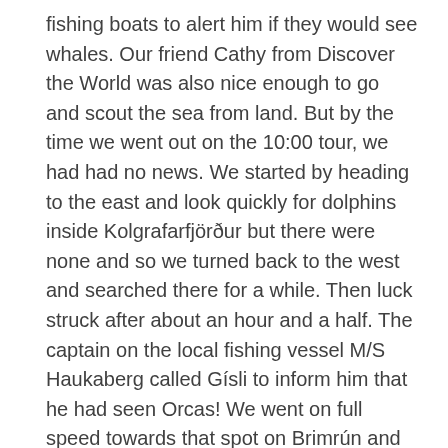fishing boats to alert him if they would see whales. Our friend Cathy from Discover the World was also nice enough to go and scout the sea from land. But by the time we went out on the 10:00 tour, we had had no news. We started by heading to the east and look quickly for dolphins inside Kolgrafarfjörður but there were none and so we turned back to the west and searched there for a while. Then luck struck after about an hour and a half. The captain on the local fishing vessel M/S Haukaberg called Gísli to inform him that he had seen Orcas! We went on full speed towards that spot on Brimrún and saw them, two males and a female. What a great sighting! Even better, one of them turned out to be 'Humpy', a male with a deformed forehead that hasn't been seen here since at least mid-January. As we have a group of people from Discover the World that hadn't managed to see any whales yesterday, we knew we had to let them know and so Gísli called land